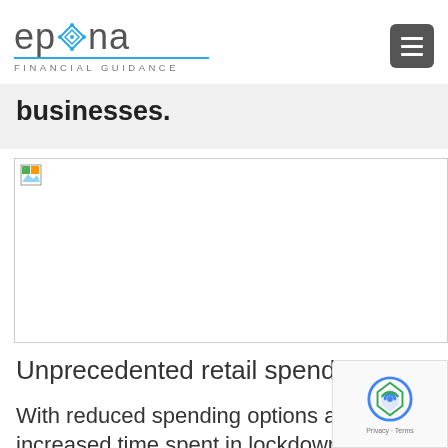epona FINANCIAL GUIDANCE
businesses.
[Figure (photo): Broken/missing image placeholder with small broken image icon in top-left corner]
Unprecedented retail spending
With reduced spending options and increased time spent in lockdown